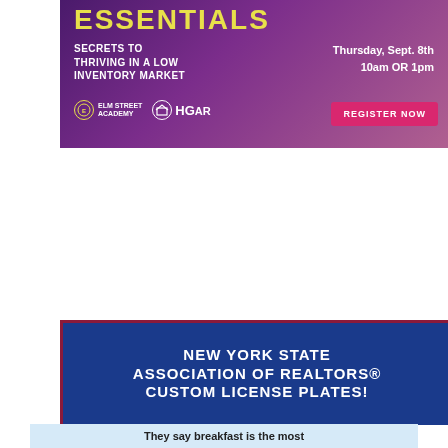[Figure (infographic): Advertisement for Elm Street Academy / HGAR event: ESSENTIALS - Secrets to Thriving in a Low Inventory Market. Thursday, Sept. 8th 10am OR 1pm. Register Now button.]
[Figure (infographic): New York State Association of REALTORS Custom License Plates advertisement showing a NY license plate with REALTOR R logo and 234ABC. Click Here to Purchase Yours. NYSAR logo.]
They say breakfast is the most